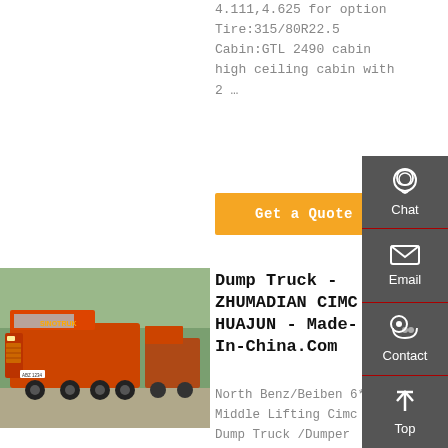4.111,4.625 for option
Tire:315/80R22.5
Cabin:GTL 2490 cabin high ceiling cabin with 2 …
Get a Quote
[Figure (photo): Red dump trucks parked in a lot, front and side view, trees in background]
Dump Truck - ZHUMADIAN CIMC HUAJUN - Made-In-China.Com
North Benz/Beiben 6*4 Middle Lifting Cimc Made Dump Truck /Dumper